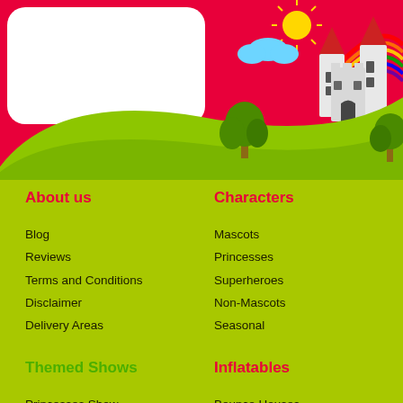[Figure (illustration): Colorful children's party website banner with a castle, rainbow, sun, trees on a green hill against a pink/red background. White rounded rectangle on left side.]
About us
Blog
Reviews
Terms and Conditions
Disclaimer
Delivery Areas
Characters
Mascots
Princesses
Superheroes
Non-Mascots
Seasonal
Themed Shows
Princesses Show
Superheroes Show
Mascots Show
Inflatables
Bounce Houses
Slides
Combo Units